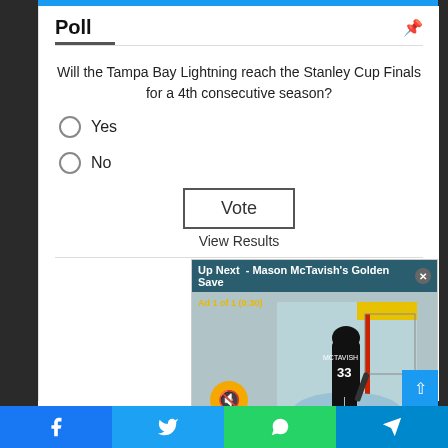Poll
Will the Tampa Bay Lightning reach the Stanley Cup Finals for a 4th consecutive season?
Yes
No
Vote
View Results
[Figure (screenshot): Video popup overlay reading 'Up Next - Mason McTavish's Golden Save' with a hockey player in a black jersey numbered 33 on ice, with an ad label 'Ad 1 of 1 (0:30)' and a muted/unmute button.]
Facebook | Twitter | WhatsApp | Telegram social share bar